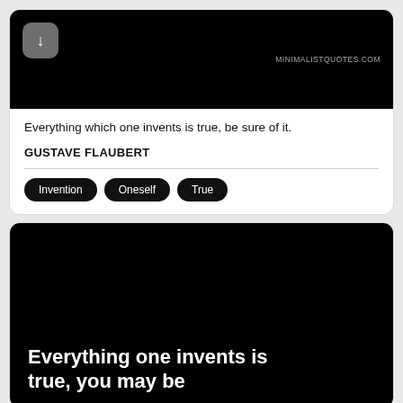[Figure (screenshot): Black background card image with download button and MINIMALISTQUOTES.COM label]
Everything which one invents is true, be sure of it.
GUSTAVE FLAUBERT
Invention
Oneself
True
[Figure (screenshot): Black background card with large white bold text: Everything one invents is true, you may be]